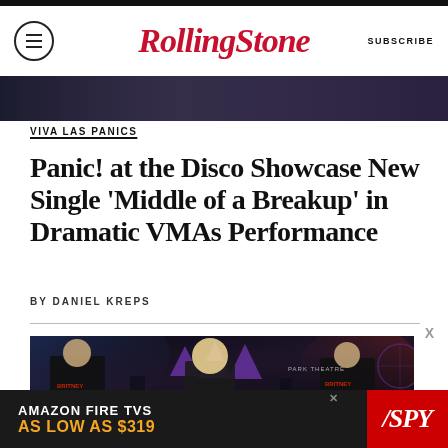Rolling Stone — SUBSCRIBE
[Figure (photo): Cropped photo strip at top of article]
VIVA LAS PANICS
Panic! at the Disco Showcase New Single 'Middle of a Breakup' in Dramatic VMAs Performance
BY DANIEL KREPS
[Figure (photo): Concert/performance photo with people in 'BRITNEY' t-shirts on a dark stage with purple triangle banners and Park Theatre sign in background]
[Figure (photo): Amazon Fire TVS advertisement banner — AMAZON FIRE TVS AS LOW AS $319 — SPY logo]